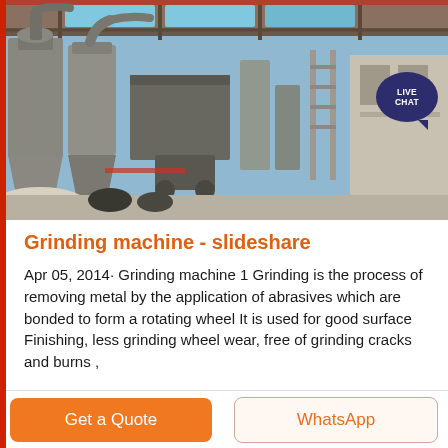[Figure (photo): Industrial grinding machine facility photograph showing large industrial equipment with pipes, conveyors, and processing units inside a warehouse/shed structure. Blue sky visible through the open roof area.]
Grinding machine - slideshare
Apr 05, 2014· Grinding machine 1 Grinding is the process of removing metal by the application of abrasives which are bonded to form a rotating wheel It is used for good surface Finishing, less grinding wheel wear, free of grinding cracks and burns ,
Get a Quote
WhatsApp